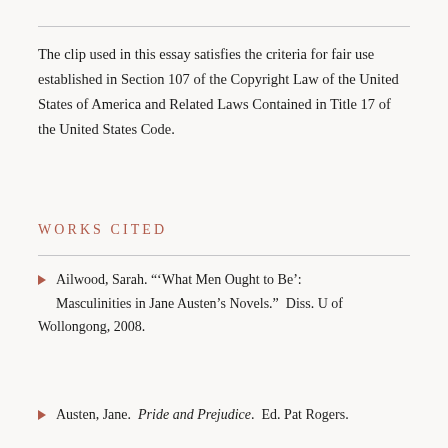The clip used in this essay satisfies the criteria for fair use established in Section 107 of the Copyright Law of the United States of America and Related Laws Contained in Title 17 of the United States Code.
WORKS CITED
Ailwood, Sarah. "'What Men Ought to Be': Masculinities in Jane Austen's Novels." Diss. U of Wollongong, 2008.
Austen, Jane. Pride and Prejudice. Ed. Pat Rogers.